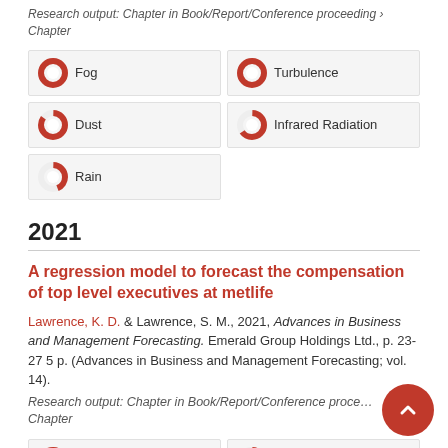Research output: Chapter in Book/Report/Conference proceeding › Chapter
[Figure (infographic): Five keyword badge tiles with donut chart icons showing percentage fills: Fog (100%), Turbulence (100%), Dust (~85%), Infrared Radiation (~65%), Rain (~45%)]
2021
A regression model to forecast the compensation of top level executives at metlife
Lawrence, K. D. & Lawrence, S. M., 2021, Advances in Business and Management Forecasting. Emerald Group Holdings Ltd., p. 23-27 5 p. (Advances in Business and Management Forecasting; vol. 14).
Research output: Chapter in Book/Report/Conference proceeding › Chapter
[Figure (infographic): Two partial keyword badge tiles visible at bottom: Regression Model (100%), Financial Variables (~65%)]
[Figure (other): Red circular scroll-to-top button with upward chevron arrow]